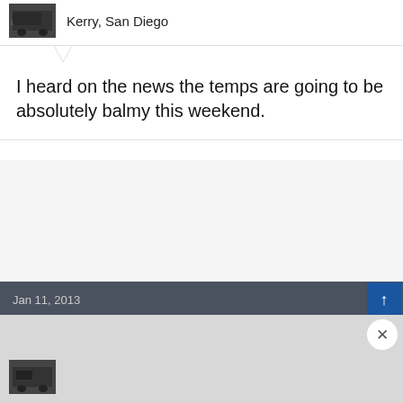[Figure (screenshot): User avatar thumbnail showing partial view of a car, dark image]
Kerry, San Diego
I heard on the news the temps are going to be absolutely balmy this weekend.
Jan 11, 2013